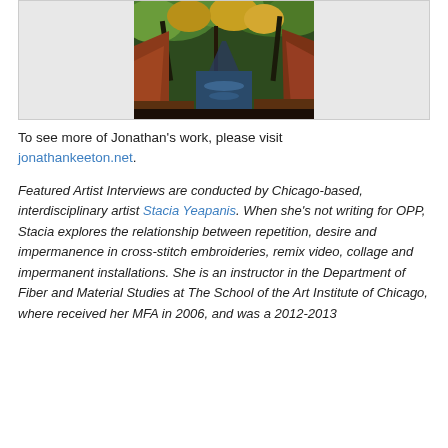[Figure (photo): A photograph of a narrow creek or stream reflecting trees with autumn foliage, flanked by reddish rock formations, viewed from a low angle down a canyon.]
To see more of Jonathan's work, please visit jonathankeeton.net.
Featured Artist Interviews are conducted by Chicago-based, interdisciplinary artist Stacia Yeapanis. When she's not writing for OPP, Stacia explores the relationship between repetition, desire and impermanence in cross-stitch embroideries, remix video, collage and impermanent installations. She is an instructor in the Department of Fiber and Material Studies at The School of the Art Institute of Chicago, where received her MFA in 2006, and was a 2012-2013